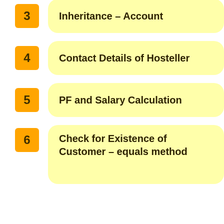3  Inheritance – Account
4  Contact Details of Hosteller
5  PF and Salary Calculation
6  Check for Existence of Customer – equals method